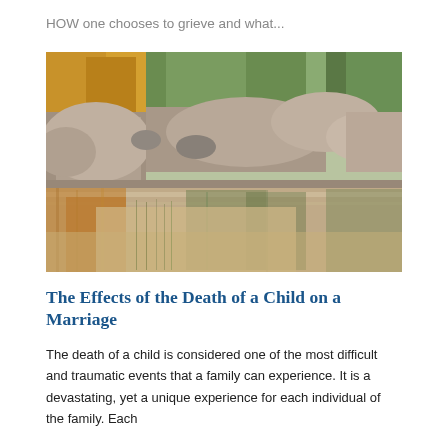HOW one chooses to grieve and what...
[Figure (photo): Outdoor nature photograph showing a rocky creek or river bed with large boulders, autumn foliage trees in the background in shades of yellow and green, and calm water reflecting the surrounding landscape in muted brown and golden tones.]
The Effects of the Death of a Child on a Marriage
The death of a child is considered one of the most difficult and traumatic events that a family can experience. It is a devastating, yet a unique experience for each individual of the family. Each